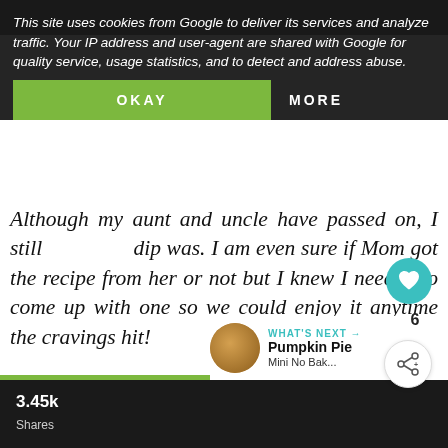This site uses cookies from Google to deliver its services and analyze traffic. Your IP address and user-agent are shared with Google for quality service, usage statistics, and to detect and address abuse.
OKAY
MORE
Although my aunt and uncle have passed on, I still dip was. I am even sure if Mom got the recipe from her or not but I knew I needed to come up with one so we could enjoy it anytime the cravings hit!
ADVERTISEMENT
6
WHAT'S NEXT →
Pumpkin Pie
Mini No Bak...
3.45k
Shares